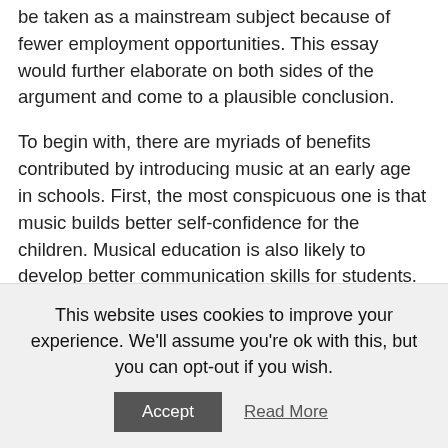be taken as a mainstream subject because of fewer employment opportunities. This essay would further elaborate on both sides of the argument and come to a plausible conclusion.
To begin with, there are myriads of benefits contributed by introducing music at an early age in schools. First, the most conspicuous one is that music builds better self-confidence for the children. Musical education is also likely to develop better communication skills for students. Musical training helps language and reasoning abilities as it develops left side of the brain, which is responsible for cognitive thinking. Playing musical instruments help students to learn coordination and hence improves team skills. Hence, needless to say, introducing music at an early stage brings more benefits
This website uses cookies to improve your experience. We'll assume you're ok with this, but you can opt-out if you wish.